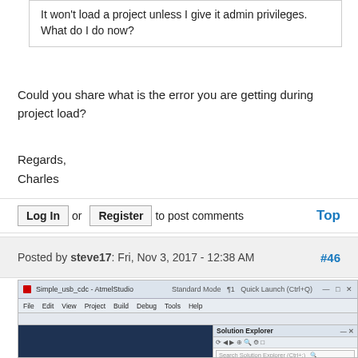It won't load a project unless I give it admin privileges.  What do I do now?
Could you share what is the error you are getting during project load?
Regards,
Charles
Log In or Register to post comments    Top
Posted by steve17: Fri, Nov 3, 2017 - 12:38 AM    #46
[Figure (screenshot): Screenshot of Atmel Studio IDE showing Solution Explorer with a project 'Simple_usb_cdc' that failed to load, displaying an error 'The project requires user input. Reload the project for mo...']